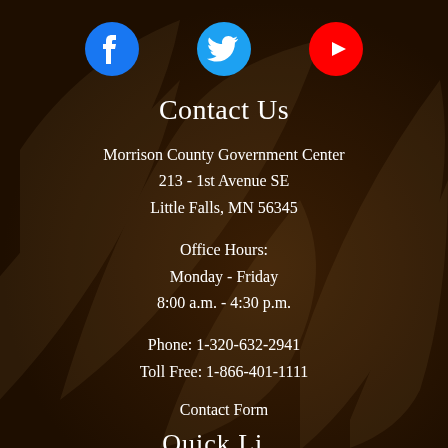[Figure (illustration): Social media icons row: Facebook (blue circle with white f), Twitter (blue circle with white bird), YouTube (red circle with white play button triangle)]
Contact Us
Morrison County Government Center
213 - 1st Avenue SE
Little Falls, MN 56345
Office Hours:
Monday - Friday
8:00 a.m. - 4:30 p.m.
Phone: 1-320-632-2941
Toll Free: 1-866-401-1111
Contact Form
Quick Li...